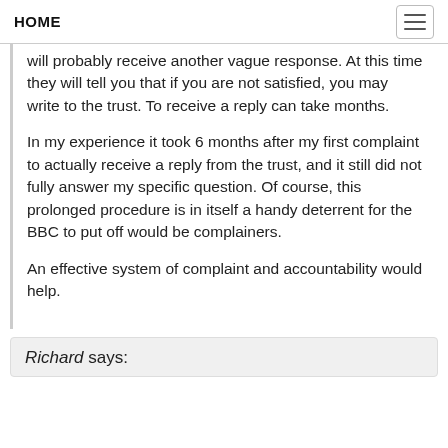HOME
will probably receive another vague response. At this time they will tell you that if you are not satisfied, you may write to the trust. To receive a reply can take months.
In my experience it took 6 months after my first complaint to actually receive a reply from the trust, and it still did not fully answer my specific question. Of course, this prolonged procedure is in itself a handy deterrent for the BBC to put off would be complainers.
An effective system of complaint and accountability would help.
Richard says: